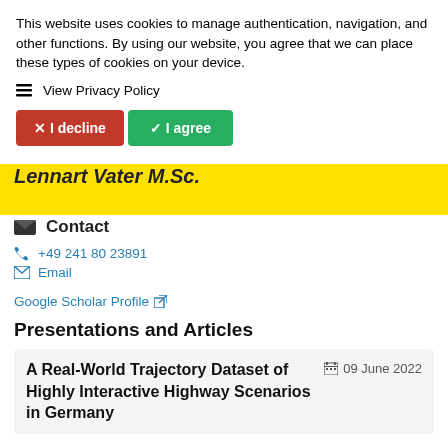This website uses cookies to manage authentication, navigation, and other functions. By using our website, you agree that we can place these types of cookies on your device.
☰ View Privacy Policy
✗ I decline
✓ I agree
Lennart Vater M.Sc.
Contact
+49 241 80 23891
Email
Google Scholar Profile ↗
Presentations and Articles
A Real-World Trajectory Dataset of Highly Interactive Highway Scenarios in Germany
09 June 2022